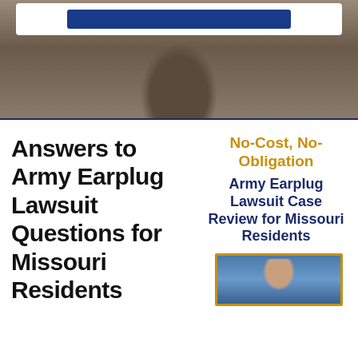[Figure (photo): Hero background image showing blurred rocky/stone terrain, with a white card at top containing a navy blue button]
Answers to Army Earplug Lawsuit Questions for Missouri Residents
No-Cost, No-Obligation
Army Earplug Lawsuit Case Review for Missouri Residents
[Figure (photo): Partial image of a soldier in uniform against a cloudy sky, framed with a gold/orange border]